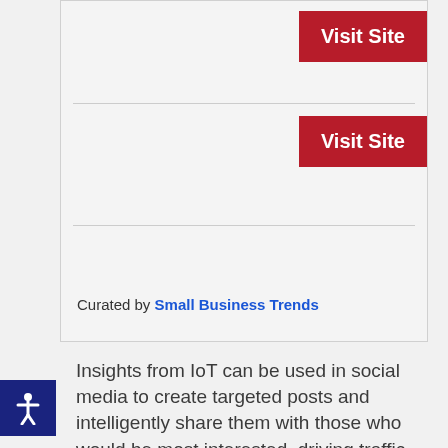[Figure (screenshot): Card/box with two 'Visit Site' red buttons and a 'Curated by Small Business Trends' line at the bottom]
Curated by Small Business Trends
Insights from IoT can be used in social media to create targeted posts and intelligently share them with those who would be most interested, driving traffic to your website. Moreover, if your B2B company has a multi-faceted website, you can promote each category of content to